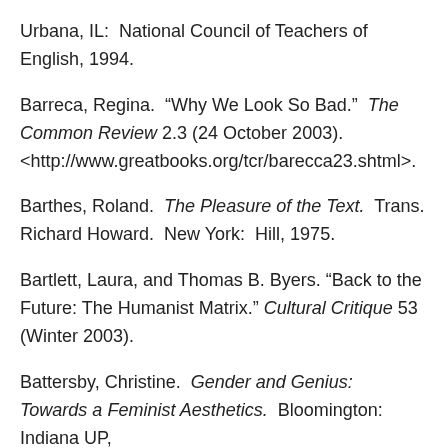Urbana, IL:  National Council of Teachers of English, 1994.
Barreca, Regina.  “Why We Look So Bad.”  The Common Review 2.3 (24 October 2003). <http://www.greatbooks.org/tcr/barecca23.shtml>.
Barthes, Roland.  The Pleasure of the Text.  Trans. Richard Howard.  New York:  Hill, 1975.
Bartlett, Laura, and Thomas B. Byers. “Back to the Future: The Humanist Matrix.” Cultural Critique 53 (Winter 2003).
Battersby, Christine.  Gender and Genius:  Towards a Feminist Aesthetics.  Bloomington:  Indiana UP,